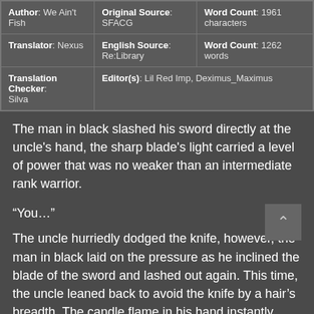| Author: We Ain't Fish | Original Source: SFACG | Word Count: 1961 characters |
| Translator: Nexus | English Source: Re:Library | Word Count: 1262 words |
| Translation Checker: Silva | Editor(s): Lil Red Imp, Deximus_Maximus |  |
The man in black slashed his sword directly at the uncle's hand, the sharp blade's light carried a level of power that was no weaker than an intermediate rank warrior.
“You…”
The uncle hurriedly dodged the knife, however, the man in black laid on the pressure as he inclined the blade of the sword and lashed out again. This time, the uncle leaned back to avoid the knife by a hair’s breadth. The candle flame in his hand instantly grew in intensity as he swept it forward to force the man in black to back off.